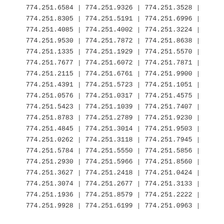| col1 | sep1 | col2 | sep2 | col3 | sep3 |
| --- | --- | --- | --- | --- | --- |
| 774.251.6584 | | | 774.251.9326 | | | 774.251.3528 | | |
| 774.251.8305 | | | 774.251.5191 | | | 774.251.6996 | | |
| 774.251.4085 | | | 774.251.4002 | | | 774.251.3224 | | |
| 774.251.9530 | | | 774.251.7872 | | | 774.251.8638 | | |
| 774.251.1335 | | | 774.251.1929 | | | 774.251.5570 | | |
| 774.251.7677 | | | 774.251.6072 | | | 774.251.7871 | | |
| 774.251.2115 | | | 774.251.6761 | | | 774.251.9900 | | |
| 774.251.4391 | | | 774.251.5723 | | | 774.251.1051 | | |
| 774.251.0576 | | | 774.251.0317 | | | 774.251.4575 | | |
| 774.251.5423 | | | 774.251.1039 | | | 774.251.7407 | | |
| 774.251.8783 | | | 774.251.2789 | | | 774.251.9230 | | |
| 774.251.4845 | | | 774.251.3014 | | | 774.251.9503 | | |
| 774.251.0262 | | | 774.251.3118 | | | 774.251.7945 | | |
| 774.251.5784 | | | 774.251.5550 | | | 774.251.5856 | | |
| 774.251.2930 | | | 774.251.5966 | | | 774.251.8560 | | |
| 774.251.3627 | | | 774.251.2418 | | | 774.251.0424 | | |
| 774.251.3074 | | | 774.251.2677 | | | 774.251.3133 | | |
| 774.251.1936 | | | 774.251.8579 | | | 774.251.2222 | | |
| 774.251.9928 | | | 774.251.6199 | | | 774.251.0963 | | |